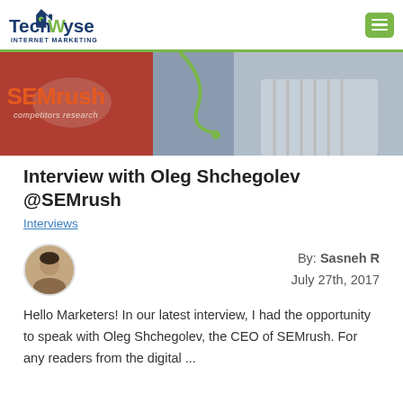TechWyse Internet Marketing
[Figure (photo): SEMrush banner image showing the SEMrush logo with 'competitors research' tagline and a man in a striped shirt on a dark background]
Interview with Oleg Shchegolev @SEMrush
Interviews
By: Sasneh R
July 27th, 2017
Hello Marketers! In our latest interview, I had the opportunity to speak with Oleg Shchegolev, the CEO of SEMrush. For any readers from the digital ...